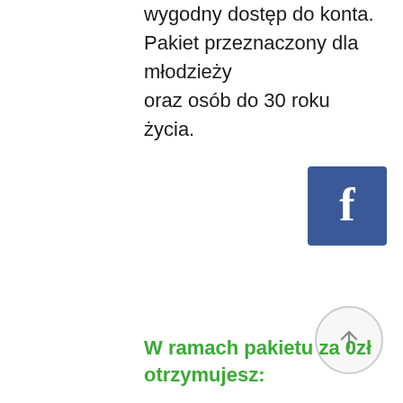wygodny dostęp do konta. Pakiet przeznaczony dla młodzieży oraz osób do 30 roku życia.
[Figure (logo): Facebook logo icon — white letter f on blue square background]
[Figure (other): Scroll-to-top button — circular button with upward arrow]
W ramach pakietu za 0zł otrzymujesz: